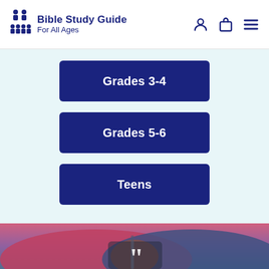Bible Study Guide For All Ages
Grades 3-4
Grades 5-6
Teens
[Figure (photo): Photo of children's hands holding together, with pink and blue winter jackets visible. Large quotation marks overlay the bottom of the image.]